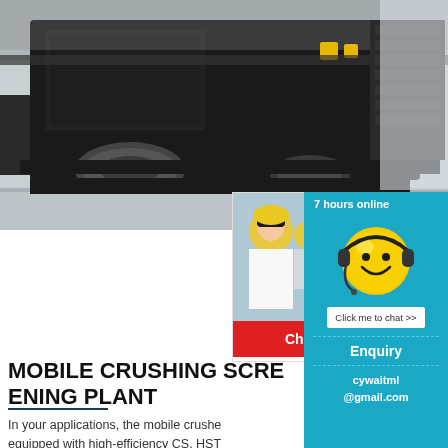[Figure (photo): Industrial mobile crushing screening machinery, heavy black equipment on a factory floor, close-up shot from below showing large mechanical components]
[Figure (screenshot): Live chat popup overlay showing workers in hard hats, 'LIVE CHAT' title in red italic, 'Click for a Free Consultation' subtitle, 'Chat now' red button and 'Chat later' dark button]
[Figure (screenshot): Right panel sidebar with teal background showing '7 hours online', yellow smiley face with headset, 'Click me to chat >>' button, 'Enquiry' section, and 'cywaitml @gmail.com' contact]
MOBILE CRUSHING SCREENING PLANT
In your applications, the mobile crusher equipped with high-efficiency CS, HST